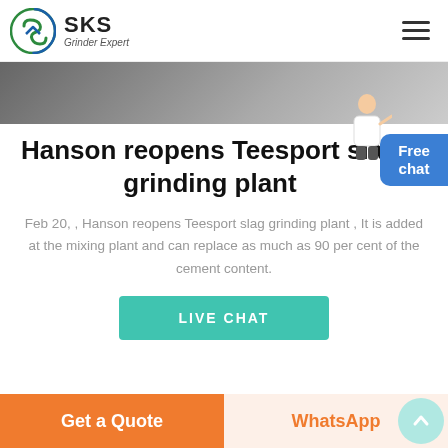SKS Grinder Expert
[Figure (photo): Partial view of industrial grinding equipment, grayscale hero banner strip]
Hanson reopens Teesport slag grinding plant
Feb 20, , Hanson reopens Teesport slag grinding plant , It is added at the mixing plant and can replace as much as 90 per cent of the cement content.
LIVE CHAT
Get a Quote | WhatsApp